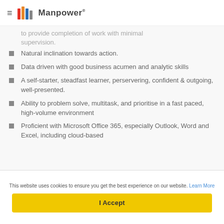Manpower
to provide completion of work with minimal supervision.
Natural inclination towards action.
Data driven with good business acumen and analytic skills
A self-starter, steadfast learner, perservering, confident & outgoing, well-presented.
Ability to problem solve, multitask, and prioritise in a fast paced, high-volume environment
Proficient with Microsoft Office 365, especially Outlook, Word and Excel, including cloud-based
This website uses cookies to ensure you get the best experience on our website. Learn More
I Accept